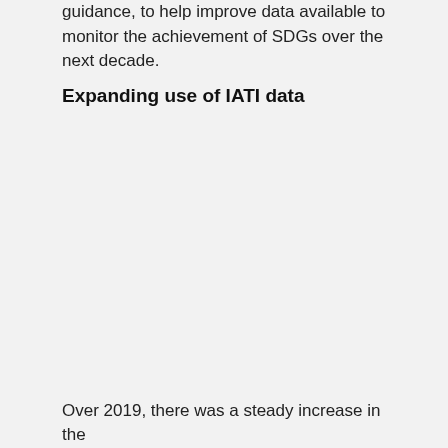guidance, to help improve data available to monitor the achievement of SDGs over the next decade.
Expanding use of IATI data
Over 2019, there was a steady increase in the